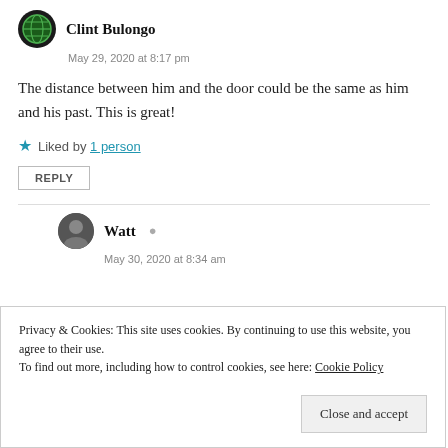Clint Bulongo
May 29, 2020 at 8:17 pm
The distance between him and the door could be the same as him and his past. This is great!
★ Liked by 1 person
REPLY
Watt
May 30, 2020 at 8:34 am
Privacy & Cookies: This site uses cookies. By continuing to use this website, you agree to their use. To find out more, including how to control cookies, see here: Cookie Policy
Close and accept